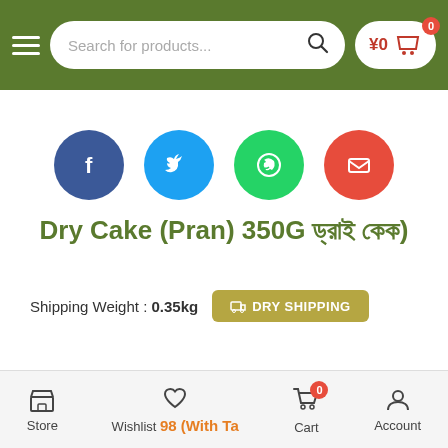Search for products... ¥0 cart 0
[Figure (infographic): Four social sharing circular buttons: Facebook (blue), Twitter (light blue), WhatsApp (green), Email (red)]
Dry Cake (Pran) 350G ড্রাই কেক)
Shipping Weight : 0.35kg  DRY SHIPPING
Store  Wishlist  98 (With Tax)  Cart  0  Account